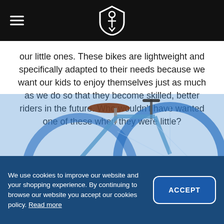our little ones. These bikes are lightweight and specifically adapted to their needs because we want our kids to enjoy themselves just as much as we do so that they become skilled, better riders in the future. Who wouldn't have wanted one of these when they were little?
[Figure (photo): Partial view of a blue mountain bike — saddle, handlebars, front wheel visible against a blue-tinted background]
We use cookies to improve our website and your shopping experience. By continuing to browse our website you accept our cookies policy. Read more